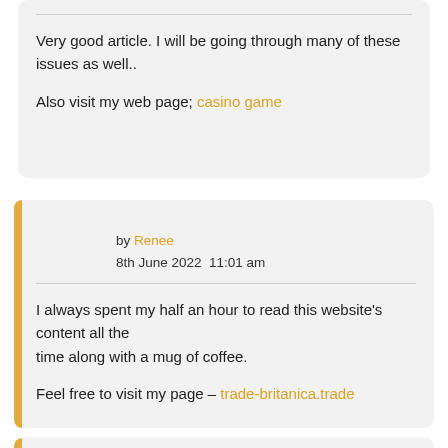Very good article. I will be going through many of these issues as well..

Also visit my web page; casino game
by Renee
8th June 2022 11:01 am
I always spent my half an hour to read this website's content all the time along with a mug of coffee.

Feel free to visit my page – trade-britanica.trade
by Ezra